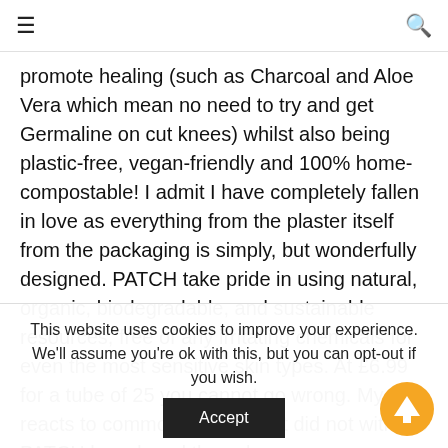≡  🔍
promote healing (such as Charcoal and Aloe Vera which mean no need to try and get Germaline on cut knees) whilst also being plastic-free, vegan-friendly and 100% home-compostable! I admit I have completely fallen in love as everything from the plaster itself from the packaging is simply, but wonderfully designed. PATCH take pride in using natural, organic, biodegradable, and sustainable resources, free of any irritating chemicals for even the most sensitive skin types. At £6.99 for a tube of 25 you cannot go wrong. My skin reacts to common plasters but did not with the PATCH brand, and they also
This website uses cookies to improve your experience. We'll assume you're ok with this, but you can opt-out if you wish.
Accept